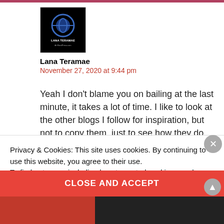[Figure (logo): Lana Teramae blog logo — dark square with blue circular icon and white text]
Lana Teramae
November 27, 2020 at 9:44 pm
Yeah I don't blame you on bailing at the last minute, it takes a lot of time. I like to look at the other blogs I follow for inspiration, but not to copy them, just to see how they do things and how
Privacy & Cookies: This site uses cookies. By continuing to use this website, you agree to their use.
To find out more, including how to control cookies, see here:
Cookie Policy
CLOSE AND ACCEPT